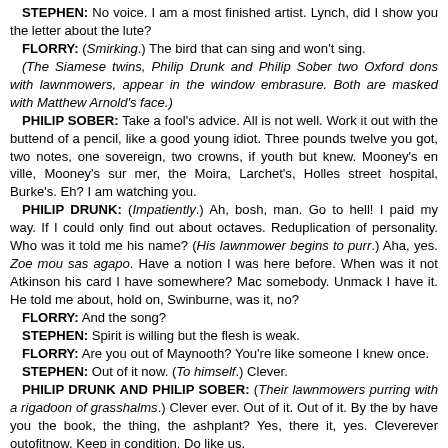STEPHEN: No voice. I am a most finished artist. Lynch, did I show you the letter about the lute?
FLORRY: (Smirking.) The bird that can sing and won't sing.
(The Siamese twins, Philip Drunk and Philip Sober two Oxford dons with lawnmowers, appear in the window embrasure. Both are masked with Matthew Arnold's face.)
PHILIP SOBER: Take a fool's advice. All is not well. Work it out with the buttend of a pencil, like a good young idiot. Three pounds twelve you got, two notes, one sovereign, two crowns, if youth but knew. Mooney's en ville, Mooney's sur mer, the Moira, Larchet's, Holles street hospital, Burke's. Eh? I am watching you.
PHILIP DRUNK: (Impatiently.) Ah, bosh, man. Go to hell! I paid my way. If I could only find out about octaves. Reduplication of personality. Who was it told me his name? (His lawnmower begins to purr.) Aha, yes. Zoe mou sas agapo. Have a notion I was here before. When was it not Atkinson his card I have somewhere? Mac somebody. Unmack I have it. He told me about, hold on, Swinburne, was it, no?
FLORRY: And the song?
STEPHEN: Spirit is willing but the flesh is weak.
FLORRY: Are you out of Maynooth? You're like someone I knew once.
STEPHEN: Out of it now. (To himself.) Clever.
PHILIP DRUNK AND PHILIP SOBER: (Their lawnmowers purring with a rigadoon of grasshalms.) Clever ever. Out of it. Out of it. By the by have you the book, the thing, the ashplant? Yes, there it, yes. Cleverever outofitnow. Keep in condition. Do like us.
ZOE: There was a priest down here two nights ago to do his bit of business with his coat buttoned up. You needn't try to hide, I says to him. I know you've a Roman collar.